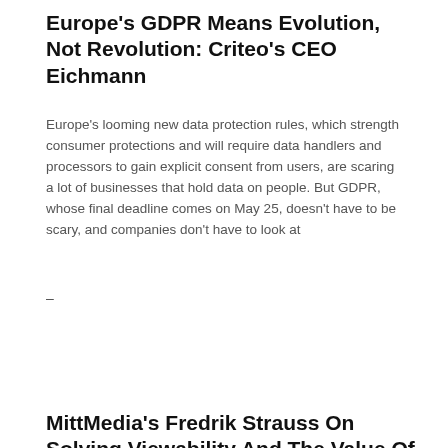Europe's GDPR Means Evolution, Not Revolution: Criteo's CEO Eichmann
Europe's looming new data protection rules, which strength consumer protections and will require data handlers and processors to gain explicit consent from users, are scaring a lot of businesses that hold data on people. But GDPR, whose final deadline comes on May 25, doesn't have to be scary, and companies don't have to look at
–
MittMedia's Fredrik Strauss On Solving Viewability And The Value Of